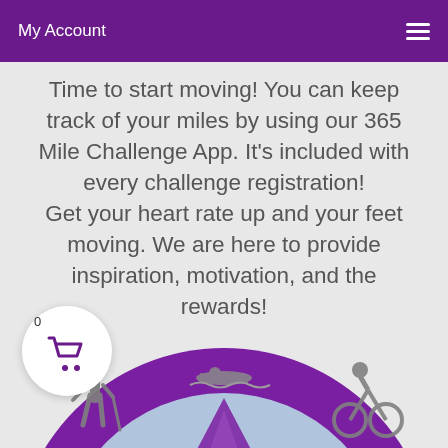My Account
Time to start moving! You can keep track of your miles by using our 365 Mile Challenge App. It's included with every challenge registration! Get your heart rate up and your feet moving. We are here to provide inspiration, motivation, and the rewards!
[Figure (illustration): Circular purple badge/medal showing silhouettes of athletic activities: swimming, hiking, cycling, and mountain scenery. The badge has a light blue inner circle with purple outer ring and gray activity figures.]